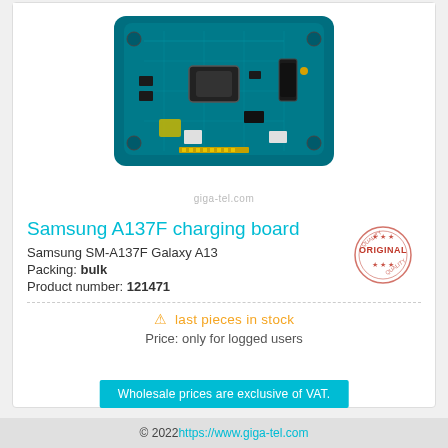[Figure (photo): Samsung A137F charging board PCB - teal/blue circuit board with USB-C port, microphone, and other components]
giga-tel.com
Samsung A137F charging board
Samsung SM-A137F Galaxy A13
Packing: bulk
Product number: 121471
⚠ last pieces in stock
Price: only for logged users
Wholesale prices are exclusive of VAT.
© 2022 https://www.giga-tel.com